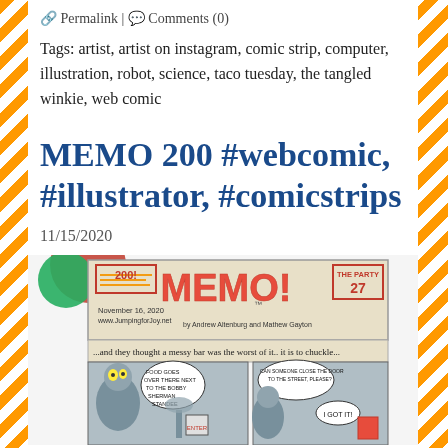🔗 Permalink | 💬 Comments (0)
Tags: artist, artist on instagram, comic strip, computer, illustration, robot, science, taco tuesday, the tangled winkie, web comic
MEMO 200 #webcomic, #illustrator, #comicstrips
11/15/2020
[Figure (illustration): Comic strip header: MEMO! issue 200, The Party 27, November 16 2020, www.JumpingforJoy.net, by Andrew Altenburg and Mathew Gayton. Panel shows ...and they thought a messy bar was the worst of it.. it is to chuckle... Characters include aliens/robots. Speech bubbles: 'FOOD GOES OVER THERE NEXT TO THE BOBBY SHERMAN STANDEE', 'CAN SOMEONE CLOSE THE DOOR TO THE STREET, PLEASE?', 'I GOT IT!']